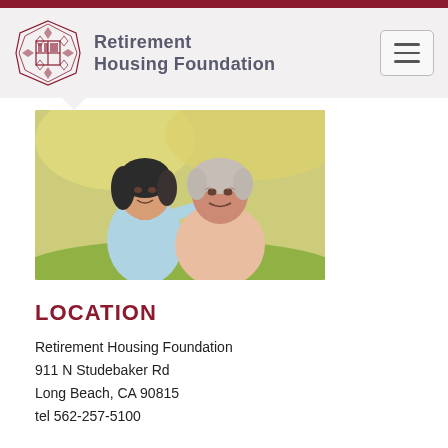Retirement Housing Foundation
[Figure (photo): Smiling older Asian couple outdoors in a park setting, woman with dark hair rests her head on man's shoulder, both smiling warmly]
LOCATION
Retirement Housing Foundation
911 N Studebaker Rd
Long Beach, CA 90815
tel 562-257-5100